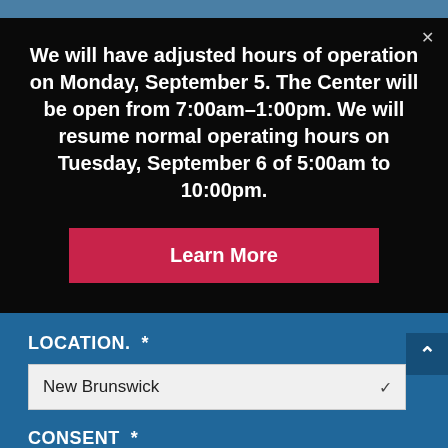We will have adjusted hours of operation on Monday, September 5. The Center will be open from 7:00am–1:00pm. We will resume normal operating hours on Tuesday, September 6 of 5:00am to 10:00pm.
Learn More
LOCATION.  *
New Brunswick
CONSENT  *
I agree to the privacy policy. I acknowledge and agree to